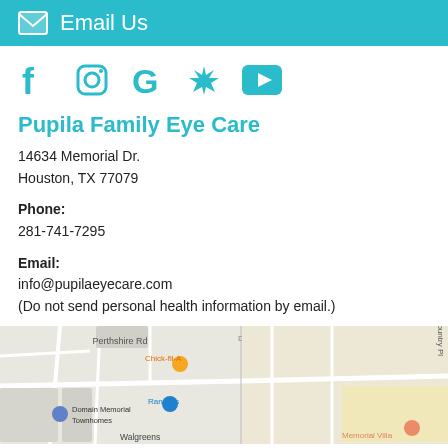Email Us
[Figure (infographic): Social media icons: Facebook, Instagram, Google, Yelp, YouTube — all in teal/cyan color]
Pupila Family Eye Care
14634 Memorial Dr.
Houston, TX 77079
Phone:
281-741-7295
Email:
info@pupilaeyecare.com
(Do not send personal health information by email.)
[Figure (map): Google Maps screenshot showing the area around 14634 Memorial Dr., Houston TX 77079, with markers for Domain Memorial Townhomes, Chick-fil-A, Randalls, Walgreens, and Memorial Villa. Streets include Perthshire Rd and Country Pl.]